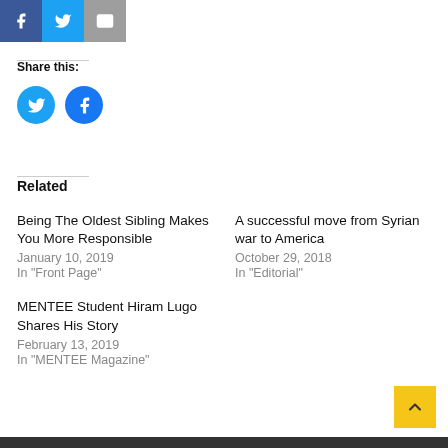[Figure (other): Social share buttons row: Facebook (blue), Twitter (cyan), Email (grey)]
Share this:
[Figure (other): Round social share icons: Twitter (blue circle) and Facebook (blue circle)]
Related
Being The Oldest Sibling Makes You More Responsible
January 10, 2019
In "Front Page"
A successful move from Syrian war to America
October 29, 2018
In "Editorial"
MENTEE Student Hiram Lugo Shares His Story
February 13, 2019
In "MENTEE Magazine"